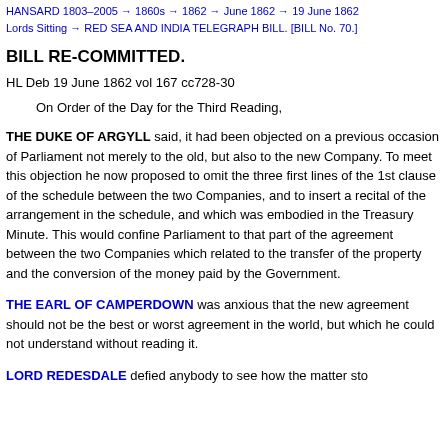HANSARD 1803–2005 → 1860s → 1862 → June 1862 → 19 June 1862
Lords Sitting → RED SEA AND INDIA TELEGRAPH BILL. [BILL No. 70.]
BILL RE-COMMITTED.
HL Deb 19 June 1862 vol 167 cc728-30
On Order of the Day for the Third Reading,
THE DUKE OF ARGYLL said, it had been objected on a previous occasion of Parliament not merely to the old, but also to the new Company. To meet this objection he now proposed to omit the three first lines of the 1st clause of the schedule between the two Companies, and to insert a recital of the arrangement in the schedule, and which was embodied in the Treasury Minute. This would confine Parliament to that part of the agreement between the two Companies which related to the transfer of the property and the conversion of the money paid by the Government.
THE EARL OF CAMPERDOWN was anxious that the new agreement should not be the best or worst agreement in the world, but which he could not understand without reading it.
LORD REDESDALE defied anybody to see how the matter sto